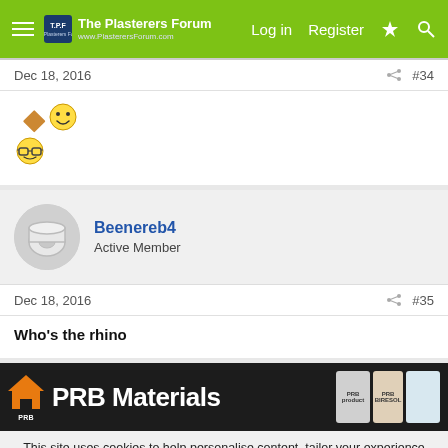The Plasterers Forum — Log in  Register
Dec 18, 2016  #34
[Figure (illustration): Two emoji: a diamond/trowel emoji and a smiley face emoji on top row, and a nerd/glasses emoji on bottom row]
Beenereb4
Active Member
Dec 18, 2016  #35
Who's the rhino
[Figure (illustration): PRB Materials advertisement banner with logo, large white text 'PRB Materials' and product images on right side]
This site uses cookies to help personalise content, tailor your experience and to keep you logged in if you register.
By continuing to use this site, you are consenting to our use of cookies.